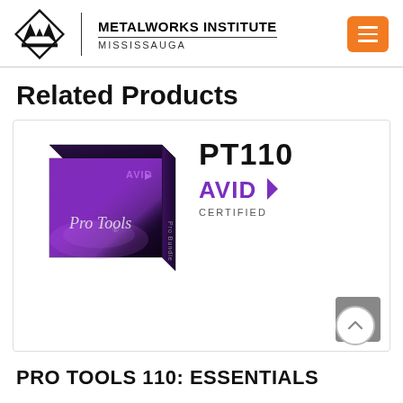METALWORKS INSTITUTE MISSISSAUGA
Related Products
[Figure (photo): Product card showing Pro Tools software box with AVID branding on left, and PT110 AVID CERTIFIED logo on right, plus a scroll-up button]
PRO TOOLS 110: ESSENTIALS